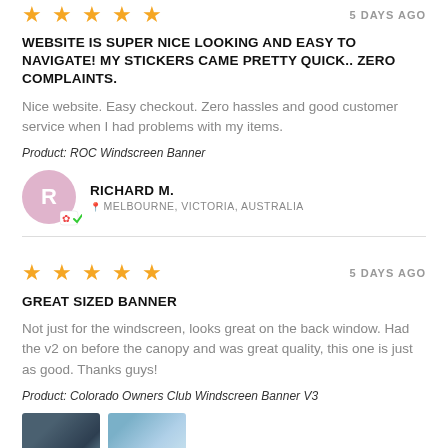[Figure (other): 5 gold star rating icons]
5 DAYS AGO
WEBSITE IS SUPER NICE LOOKING AND EASY TO NAVIGATE! MY STICKERS CAME PRETTY QUICK.. ZERO COMPLAINTS.
Nice website. Easy checkout. Zero hassles and good customer service when I had problems with my items.
Product: ROC Windscreen Banner
RICHARD M. MELBOURNE, VICTORIA, AUSTRALIA
[Figure (other): 5 gold star rating icons with 5 DAYS AGO timestamp]
GREAT SIZED BANNER
Not just for the windscreen, looks great on the back window. Had the v2 on before the canopy and was great quality, this one is just as good. Thanks guys!
Product: Colorado Owners Club Windscreen Banner V3
[Figure (photo): Two thumbnail photos of banner on vehicle windows]